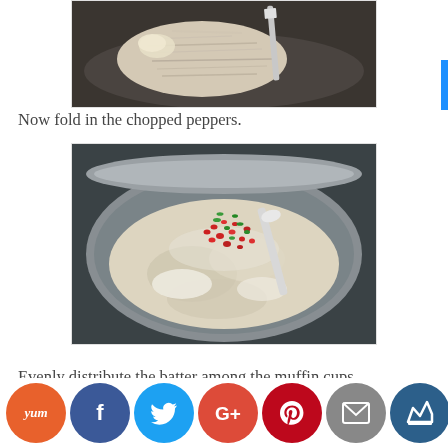[Figure (photo): Shredded chicken on a plate with a spatula]
Now fold in the chopped peppers.
[Figure (photo): Mixing bowl with muffin batter, red and green chopped peppers being folded in with a spoon]
Evenly distribute the batter among the muffin cups.
[Figure (infographic): Social sharing buttons: Yummly, Facebook, Twitter, Google+, Pinterest, Email, Crown]